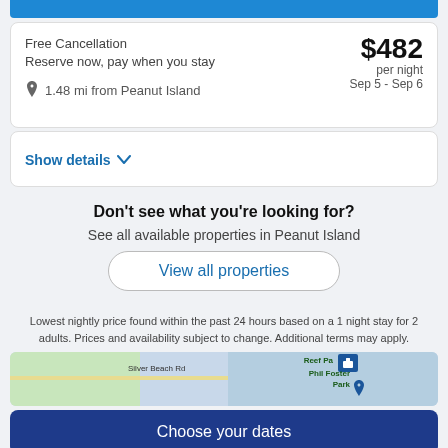Free Cancellation
Reserve now, pay when you stay
$482 per night
Sep 5 - Sep 6
1.48 mi from Peanut Island
Show details
Don't see what you're looking for?
See all available properties in Peanut Island
View all properties
Lowest nightly price found within the past 24 hours based on a 1 night stay for 2 adults. Prices and availability subject to change. Additional terms may apply.
[Figure (map): Map showing Silver Beach Rd, Reef Park area, Phil Foster Park with hotel icon]
Choose your dates